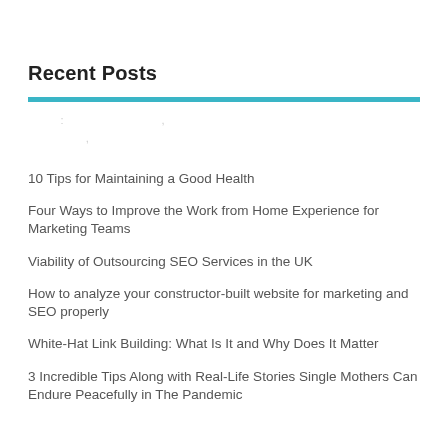Recent Posts
10 Tips for Maintaining a Good Health
Four Ways to Improve the Work from Home Experience for Marketing Teams
Viability of Outsourcing SEO Services in the UK
How to analyze your constructor-built website for marketing and SEO properly
White-Hat Link Building: What Is It and Why Does It Matter
3 Incredible Tips Along with Real-Life Stories Single Mothers Can Endure Peacefully in The Pandemic